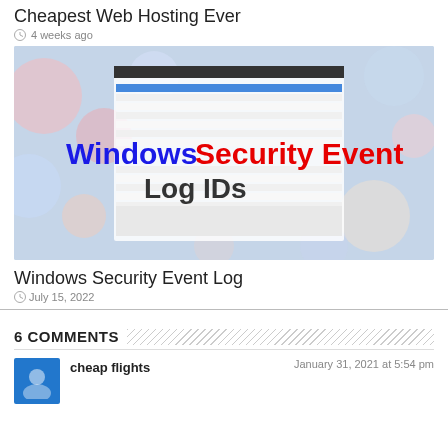Cheapest Web Hosting Ever
4 weeks ago
[Figure (screenshot): Screenshot of Windows Security Event Log viewer with overlay text reading 'Windows Security Event Log IDs']
Windows Security Event Log
July 15, 2022
6 COMMENTS
cheap flights
January 31, 2021 at 5:54 pm